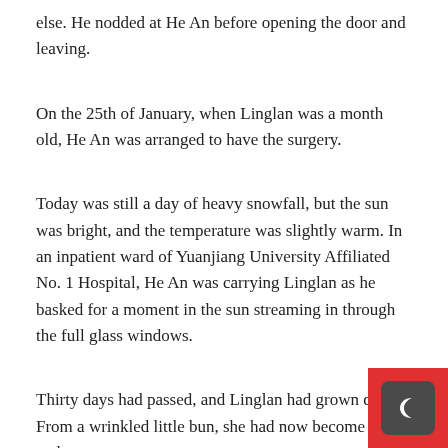else. He nodded at He An before opening the door and leaving.
On the 25th of January, when Linglan was a month old, He An was arranged to have the surgery.
Today was still a day of heavy snowfall, but the sun was bright, and the temperature was slightly warm. In an inpatient ward of Yuanjiang University Affiliated No. 1 Hospital, He An was carrying Linglan as he basked for a moment in the sun streaming in through the full glass windows.
Thirty days had passed, and Linglan had grown quite a... From a wrinkled little bun, she had now become a fair and
[Figure (illustration): A red square icon with a dark gray rounded rectangle containing a crescent moon symbol in white, positioned in the bottom-right corner of the page.]